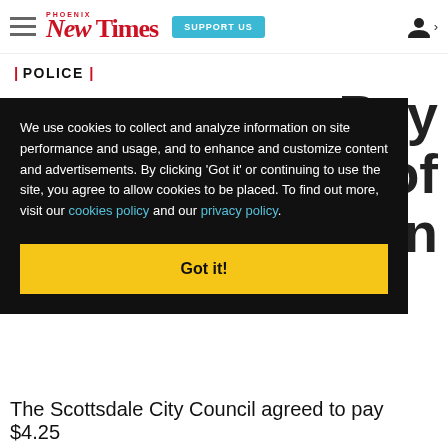Phoenix New Times | SUPPORT US
| POLICE |
Pay ... y of ... n
We use cookies to collect and analyze information on site performance and usage, and to enhance and customize content and advertisements. By clicking 'Got it' or continuing to use the site, you agree to allow cookies to be placed. To find out more, visit our cookies policy and our privacy policy.
Got it!
The Scottsdale City Council agreed to pay $4.25